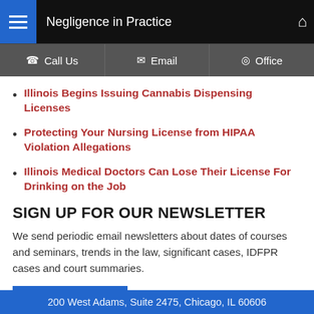Negligence in Practice
Call Us | Email | Office
Illinois Begins Issuing Cannabis Dispensing Licenses
Protecting Your Nursing License from HIPAA Violation Allegations
Illinois Medical Doctors Can Lose Their License For Drinking on the Job
SIGN UP FOR OUR NEWSLETTER
We send periodic email newsletters about dates of courses and seminars, trends in the law, significant cases, IDFPR cases and court summaries.
Sign Up
200 West Adams, Suite 2475, Chicago, IL 60606